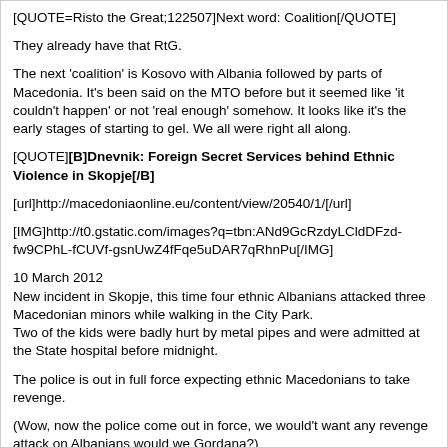[QUOTE=Risto the Great;122507]Next word: Coalition[/QUOTE]
They already have that RtG.
The next 'coalition' is Kosovo with Albania followed by parts of Macedonia. It's been said on the MTO before but it seemed like 'it couldn't happen' or not 'real enough' somehow. It looks like it's the early stages of starting to gel. We all were right all along.
[QUOTE][B]Dnevnik: Foreign Secret Services behind Ethnic Violence in Skopje[/B]
[url]http://macedoniaonline.eu/content/view/20540/1/[/url]
[IMG]http://t0.gstatic.com/images?q=tbn:ANd9GcRzdyLCldDFzd-fw9CPhL-fCUVf-gsnUwZ4fFqe5uDAR7qRhnPu[/IMG]
10 March 2012
New incident in Skopje, this time four ethnic Albanians attacked three Macedonian minors while walking in the City Park.
Two of the kids were badly hurt by metal pipes and were admitted at the State hospital before midnight.
The police is out in full force expecting ethnic Macedonians to take revenge.
(Wow, now the police come out in force, we would't want any revenge attack on Albanians would we Gordana?)